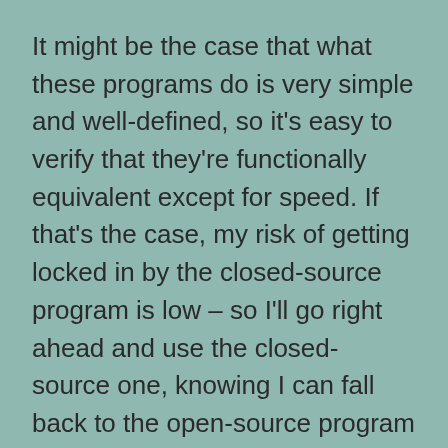It might be the case that what these programs do is very simple and well-defined, so it's easy to verify that they're functionally equivalent except for speed. If that's the case, my risk of getting locked in by the closed-source program is low – so I'll go right ahead and use the closed-source one, knowing I can fall back to the open-source program at any time.
It might also be the case that buying faster hardware will make the open-source program fast enough for my purposes. Hardware is cheap and the benefits from improving it extend across a broad range of tasks, so I'd